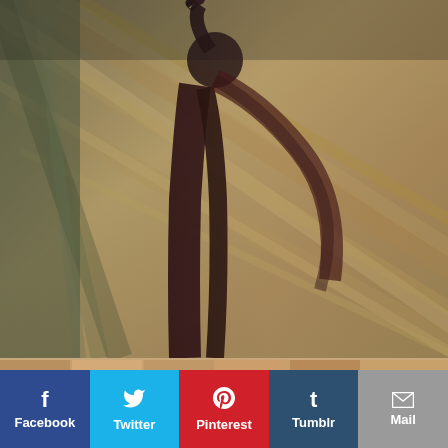[Figure (photo): Fashion photo of a woman in a long dark burgundy/maroon dress with one arm raised, set against a blurred motion-effect background of autumn leaves and trees. The image has a dramatic, artistic blur effect giving a sense of movement.]
[Figure (photo): Thumbnail strip preview of another photo at the bottom of the main image area.]
Facebook
Twitter
Pinterest
Tumblr
Mail